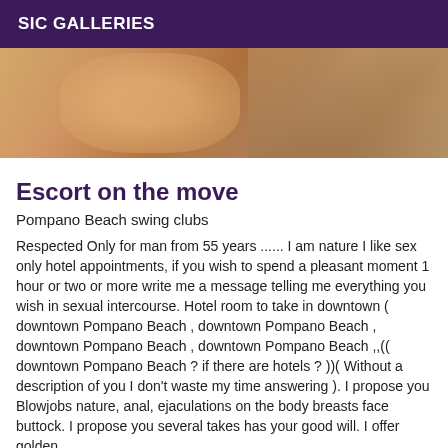SIC GALLERIES
[Figure (photo): Cropped photo showing a person with blonde hair and an orange accessory near their face, and another person in the background on bedding.]
Escort on the move
Pompano Beach swing clubs
Respected Only for man from 55 years ...... I am nature I like sex only hotel appointments, if you wish to spend a pleasant moment 1 hour or two or more write me a message telling me everything you wish in sexual intercourse. Hotel room to take in downtown ( downtown Pompano Beach , downtown Pompano Beach , downtown Pompano Beach , downtown Pompano Beach ,,(( downtown Pompano Beach ? if there are hotels ? ))( Without a description of you I don't waste my time answering ). I propose you Blowjobs nature, anal, ejaculations on the body breasts face buttock. I propose you several takes has your good will. I offer golden